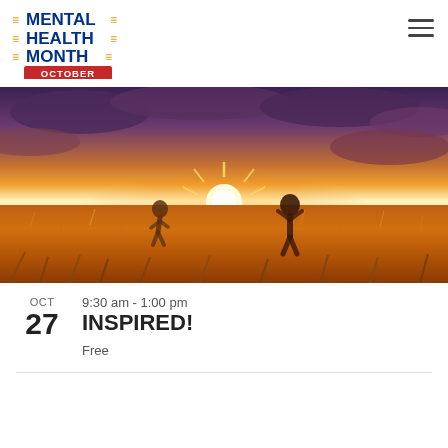[Figure (logo): Mental Health Month October logo with blue text and red October badge]
[Figure (photo): People playing in a golden sunset field with dramatic purple-orange sky, sun rays bursting on the horizon]
9:30 am - 1:00 pm
INSPIRED!
Free